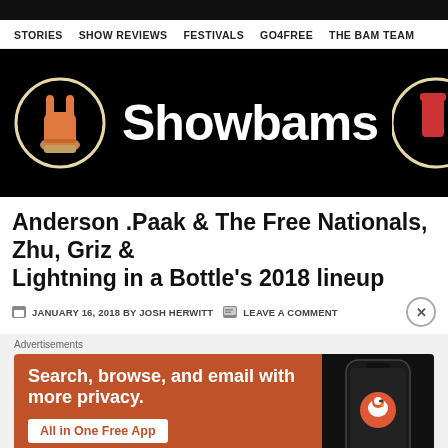STORIES   SHOW REVIEWS   FESTIVALS   GO4FREE   THE BAM TEAM
[Figure (logo): Showbams website banner with orange rock-hand logo and Showbams text on black background]
Anderson .Paak & The Free Nationals, Zhu, Griz & Lightning in a Bottle's 2018 lineup
JANUARY 16, 2018 BY JOSH HERWITT   LEAVE A COMMENT
Advertisements
[Figure (screenshot): DuckDuckGo advertisement: Search, browse, and email with more privacy. All in One Free App. Shows a phone with DuckDuckGo logo.]